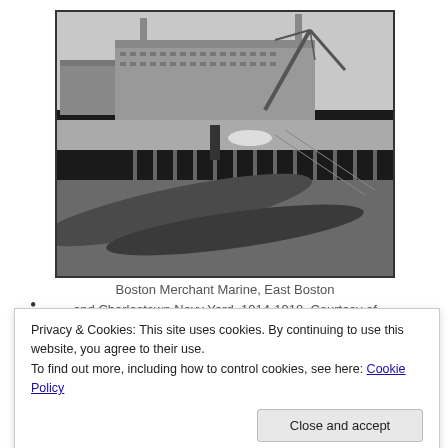[Figure (photo): Black and white photograph of Boston Merchant Marine, East Boston and Charlestown Navy Yard, showing submarines or vessels docked at a pier with a large industrial building and crane in the background, dated 1914-1918.]
Boston Merchant Marine, East Boston and Charlestown Navy Yard, 1914-1918. Courtesy of
Privacy & Cookies: This site uses cookies. By continuing to use this website, you agree to their use.
To find out more, including how to control cookies, see here: Cookie Policy
Close and accept
for training. One story about merchant marines surprised